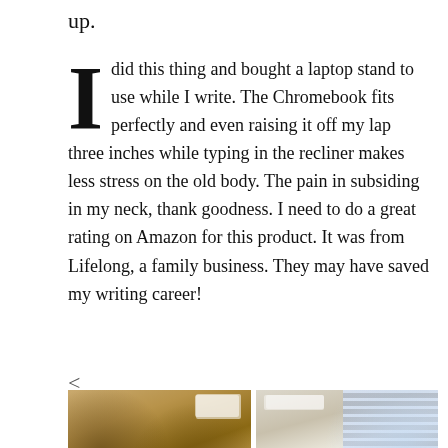up.
I did this thing and bought a laptop stand to use while I write. The Chromebook fits perfectly and even raising it off my lap three inches while typing in the recliner makes less stress on the old body. The pain in subsiding in my neck, thank goodness. I need to do a great rating on Amazon for this product. It was from Lifelong, a family business. They may have saved my writing career!
<
[Figure (photo): Two side-by-side photos: left shows a very cluttered desk with books, papers and craft supplies piled high; right shows a cleaner organized desk with a laptop on a stand, bookshelves, and a bright window with blinds.]